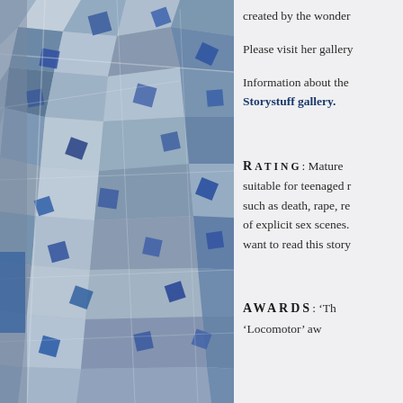[Figure (photo): Mosaic or stained glass pattern with blue, grey and beige geometric shapes on the left panel of the page]
created by the wonder
Please visit her gallery
Information about the Storystuff gallery.
RATING: Mature suitable for teenaged r such as death, rape, re of explicit sex scenes. want to read this story
AWARDS: â€˜Th â€˜Locomotorâ€™ aw